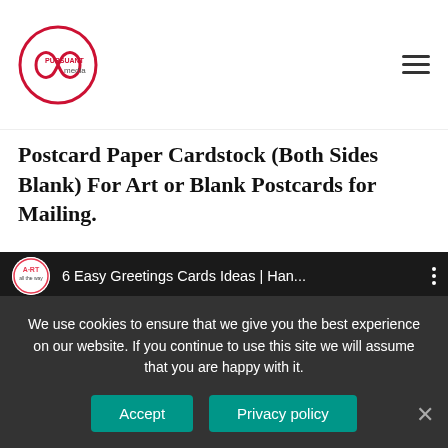Pursuant Media logo and navigation
Postcard Paper Cardstock (Both Sides Blank) For Art or Blank Postcards for Mailing.
[Figure (screenshot): YouTube video embed thumbnail showing '6 Easy Greetings Cards Ideas | Han...' with three card craft thumbnails below]
We use cookies to ensure that we give you the best experience on our website. If you continue to use this site we will assume that you are happy with it.
Accept  Privacy policy